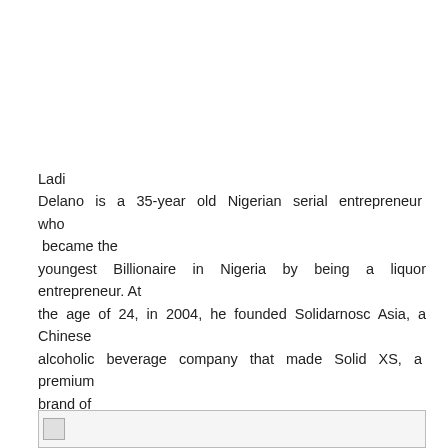Ladi Delano is a 35-year old Nigerian serial entrepreneur who became the youngest Billionaire in Nigeria by being a liquor entrepreneur. At the age of 24, in 2004, he founded Solidarnosc Asia, a Chinese alcoholic beverage company that made Solid XS, a premium brand of vodka. He is also the founder and CEO of Bakrie Delano Africa, an affiliate of the Bakrie Conglomerate of Indonesia.
2. IGHO SANOMI
[Figure (photo): Image placeholder at bottom of page]